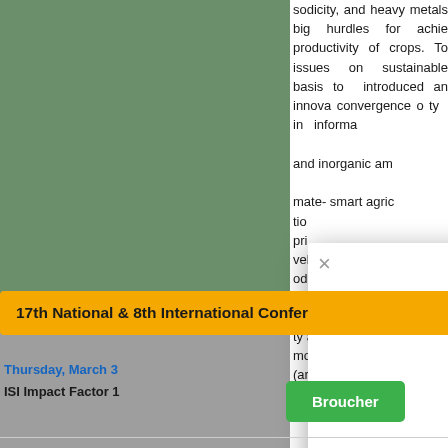[Figure (screenshot): Screenshot of a web page showing a conference modal popup over an article background. The background has a green sidebar on the left and article text on the right. The modal shows a yellow conference banner '17th National & 8th International Conference', a green 'Broucher' button, a red 'Registration F...' button, a yellow 'SPECIAL ISSUE' button, and invitation text about Convergence of Modern Technologies and Smart Agriculture.]
sodicity, and heavy metals big hurdles for achieving productivity of crops. To issues on sustainable basis to introduced an innovative convergence of ty in informa and inorganic am mate- smart agric ti pri vely support the d od security in a c s to tackle three ly increasing ty and incomes: modern technologies (artificiali
17th National & 8th International Conference
Broucher
Registration F
SPECIAL ISSUE
We invite researchers to contribute to the "Convergence of Modern Technologies Smart Agriculture: Alleviation of Biotic Stresses" which is intended to cover b modern technologies (artificiali
Thursday, March 3
ISI Impact Factor 1